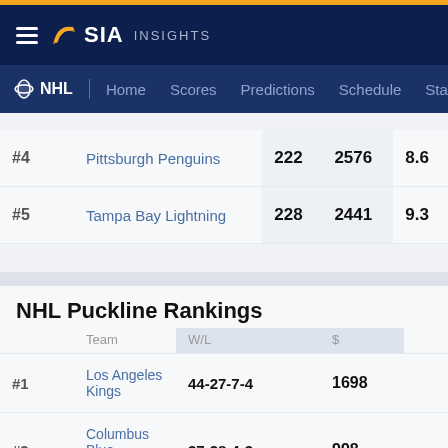SIA INSIGHTS
NHL | Home Scores Predictions Schedule Sta
| Rank | Team | 222/228 | 2576/2441 | 8.6/9.3 |
| --- | --- | --- | --- | --- |
| #4 | Pittsburgh Penguins | 222 | 2576 | 8.6 |
| #5 | Tampa Bay Lightning | 228 | 2441 | 9.3 |
NHL Puckline Rankings
| Team | W/L | $ |
| --- | --- | --- |
| #1 | Los Angeles Kings | 44-27-7-4 | 1698 |
| #2 | Columbus Blue Jackets | 37-38-4-3 | 998 |
| #3 | Buffalo Sabres | 32-39-8-3 | 904 |